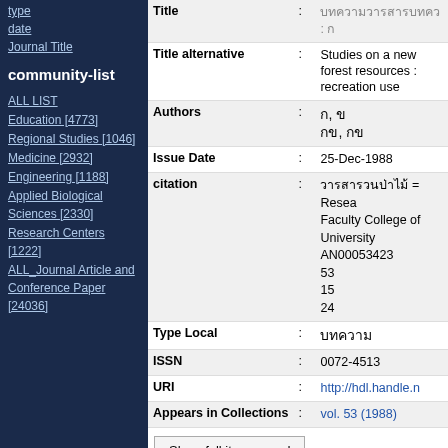type
date
Journal Title
community-list
ALL LIST
Education [4773]
Regional Studies [1046]
Medicine [2932]
Engineering [1188]
Applied Biological Sciences [2330]
Research Centers [1222]
ALL_Journal Article and Conference Paper [24036]
| Field | : | Value |
| --- | --- | --- |
| Title | : | [Thai characters] : [Thai characters] |
| Title alternative | : | Studies on a new forest resources : recreation use |
| Authors | : | [Thai chars], [Thai char]
[Thai chars], [Thai chars] |
| Issue Date | : | 25-Dec-1988 |
| citation | : | [Thai characters] = Resea Faculty College of University AN00053423 53 15 24 |
| Type Local | : | [Thai chars] |
| ISSN | : | 0072-4513 |
| URI | : | http://hdl.handle.n... |
| Appears in Collections | : | vol. 53 (1988) |
Show full item record